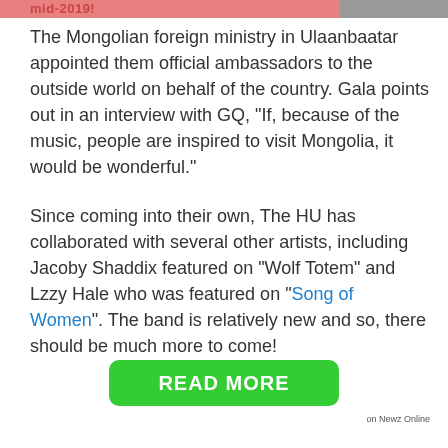mid-2019!
The Mongolian foreign ministry in Ulaanbaatar appointed them official ambassadors to the outside world on behalf of the country. Gala points out in an interview with GQ, “If, because of the music, people are inspired to visit Mongolia, it would be wonderful.”
Since coming into their own, The HU has collaborated with several other artists, including Jacoby Shaddix featured on “Wolf Totem” and Lzzy Hale who was featured on “Song of Women”. The band is relatively new and so, there should be much more to come!
READ MORE
on Newz Online